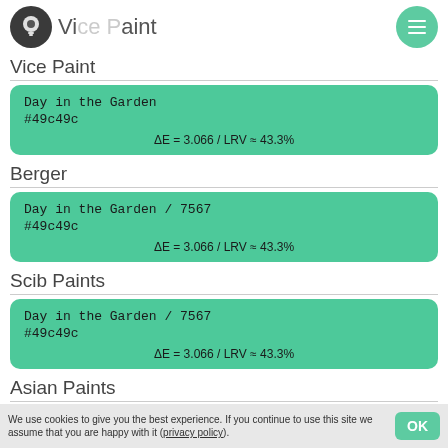Vice Paint
Vice Paint
Day in the Garden
#49c49c
ΔE = 3.066 / LRV ≈ 43.3%
Berger
Day in the Garden / 7567
#49c49c
ΔE = 3.066 / LRV ≈ 43.3%
Scib Paints
Day in the Garden / 7567
#49c49c
ΔE = 3.066 / LRV ≈ 43.3%
Asian Paints
Natural Mint / 9295
Aquamarine / 2357
We use cookies to give you the best experience. If you continue to use this site we assume that you are happy with it (privacy policy).